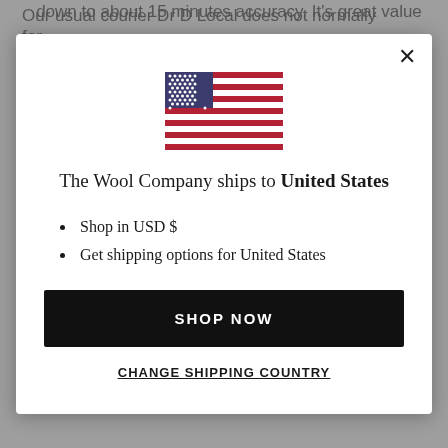Our usual courier Dr D Local does not normally deliver on Saturdays. If you require a Saturday delivery please specify
[Figure (illustration): US flag SVG illustration inside a modal dialog]
The Wool Company ships to United States
Shop in USD $
Get shipping options for United States
SHOP NOW
CHANGE SHIPPING COUNTRY
down to about 15 minutes accuracy. It's great value for